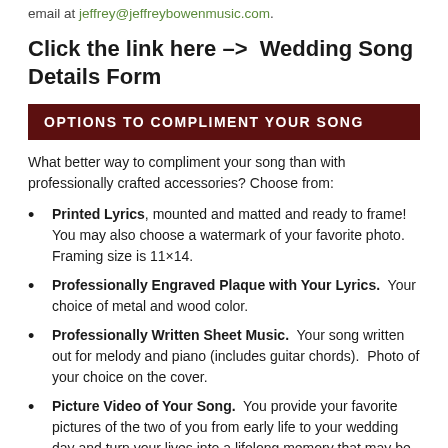email at jeffrey@jeffreybowenmusic.com.
Click the link here –>  Wedding Song Details Form
OPTIONS TO COMPLIMENT YOUR SONG
What better way to compliment your song than with professionally crafted accessories? Choose from:
Printed Lyrics, mounted and matted and ready to frame!  You may also choose a watermark of your favorite photo.  Framing size is 11×14.
Professionally Engraved Plaque with Your Lyrics.  Your choice of metal and wood color.
Professionally Written Sheet Music.  Your song written out for melody and piano (includes guitar chords).  Photo of your choice on the cover.
Picture Video of Your Song.  You provide your favorite pictures of the two of you from early life to your wedding day and turn your lives into a lifelong memory that may be